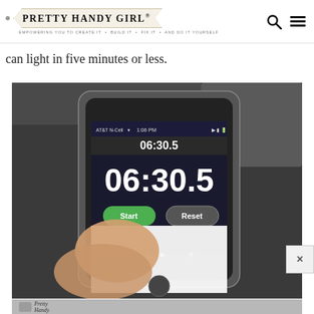PRETTY HANDY GIRL® — EMPOWERING YOU TO CREATE IT • BUILD IT • FIX IT • AND DO IT YOURSELF
can light in five minutes or less.
[Figure (photo): A hand holding a smartphone in a gray case showing a stopwatch app displaying 06:30.5 with Start and Reset buttons visible on the screen. AT&T N-Cell signal shown with time 1:06 PM.]
[Figure (photo): Bottom partial image showing text 'Pretty Handy Girl.com' with a logo/icon, partially visible at bottom of page.]